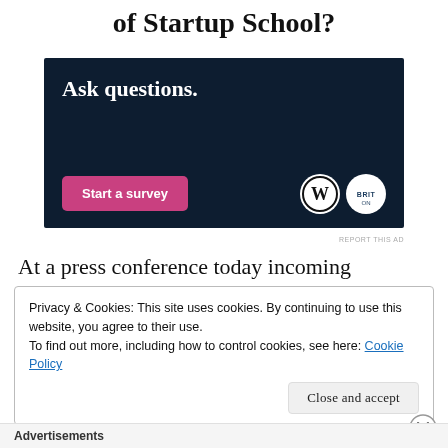of Startup School?
[Figure (illustration): Advertisement banner with dark navy background showing 'Ask questions.' in white serif text, a pink 'Start a survey' button, and two circular logos (WordPress and another brand) on the right side.]
REPORT THIS AD
At a press conference today incoming
Privacy & Cookies: This site uses cookies. By continuing to use this website, you agree to their use.
To find out more, including how to control cookies, see here: Cookie Policy
Advertisements